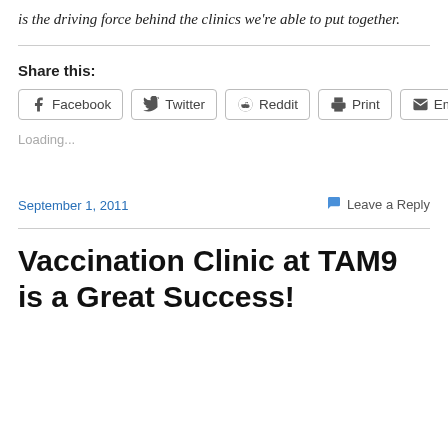is the driving force behind the clinics we're able to put together.
Share this:
[Figure (other): Social share buttons: Facebook, Twitter, Reddit, Print, Email]
Loading...
September 1, 2011
Leave a Reply
Vaccination Clinic at TAM9 is a Great Success!